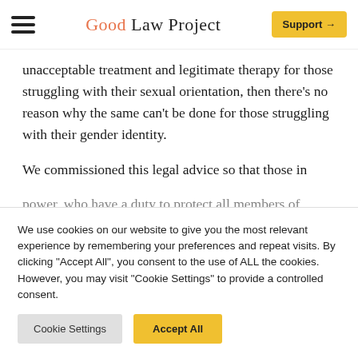Good Law Project | Support →
unacceptable treatment and legitimate therapy for those struggling with their sexual orientation, then there's no reason why the same can't be done for those struggling with their gender identity.
We commissioned this legal advice so that those in power, who have a duty to protect all members of
We use cookies on our website to give you the most relevant experience by remembering your preferences and repeat visits. By clicking "Accept All", you consent to the use of ALL the cookies. However, you may visit "Cookie Settings" to provide a controlled consent.
Cookie Settings | Accept All